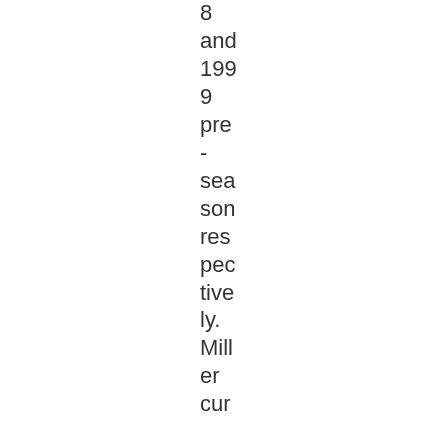8 and 1999 pre-season respectively. Miller cur